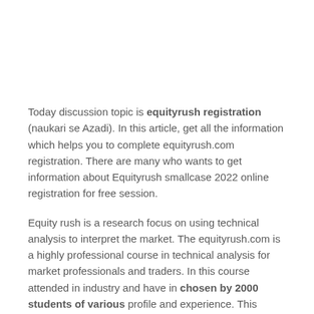Today discussion topic is equityrush registration (naukari se Azadi). In this article, get all the information which helps you to complete equityrush.com registration. There are many who wants to get information about Equityrush smallcase 2022 online registration for free session.
Equity rush is a research focus on using technical analysis to interpret the market. The equityrush.com is a highly professional course in technical analysis for market professionals and traders. In this course attended in industry and have in chosen by 2000 students of various profile and experience. This helped the students to acquire practical induction